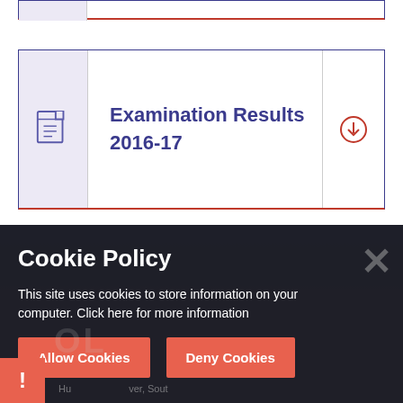[Figure (screenshot): A document card UI element showing a PDF file icon on the left with purple background, and the text 'Examination Results 2016-17' in purple, with a download icon on the right. The card has a dark blue border and red bottom border.]
[Figure (screenshot): Cookie policy overlay on a dark background footer. Shows title 'Cookie Policy', body text 'This site uses cookies to store information on your computer. Click here for more information', and two buttons: 'Allow Cookies' and 'Deny Cookies' in red/salmon color. A grey X close button is on the right. A red warning exclamation icon is at the bottom left.]
Cookie Policy
This site uses cookies to store information on your computer. Click here for more information